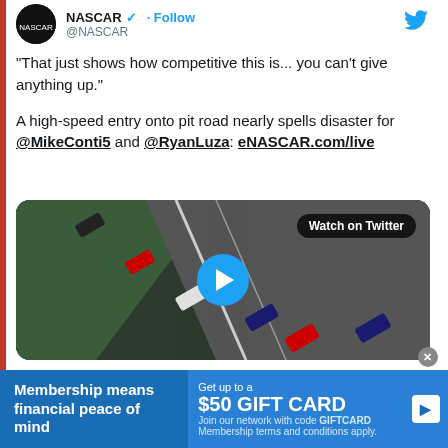[Figure (screenshot): Twitter/social media post header with NASCAR avatar, @NASCAR handle, Follow button, and Twitter bird logo]
"That just shows how competitive this is... you can't give anything up."

A high-speed entry onto pit road nearly spells disaster for @MikeConti5 and @RyanLuza: eNASCAR.com/live
[Figure (screenshot): Video thumbnail showing aerial view of NASCAR race cars on track with 'Watch on Twitter' badge and play button]
[Figure (screenshot): Advertisement banner: left side blue 'Membership means financial peace of mind', right side lighter blue 'Get up to a $50 GIFT CARD Join our network with code GIFTCARD Membership terms and conditions apply.']